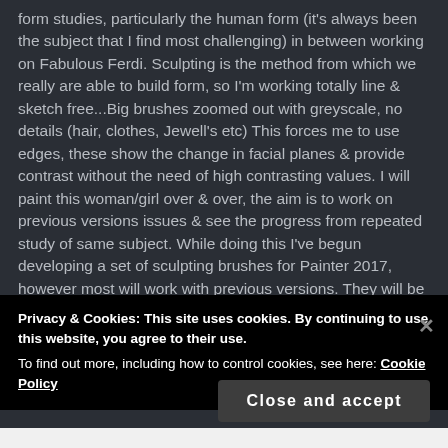form studies, particularly the human form (it's always been the subject that I find most challenging) in between working on Fabulous Ferdi. Sculpting is the method from which we really are able to build form, so I'm working totally line & sketch free...Big brushes zoomed out with greyscale, no details (hair, clothes, Jewell's etc) This forces me to use edges, these show the change in facial planes & provide contrast without the need of high contrasting values. I will paint this woman/girl over & over, the aim is to work on previous versions issues & see the progress from repeated study of same subject. While doing this I've begun developing a set of sculpting brushes for Painter 2017, however most will work with previous versions. They will be a set for both concept & portrait artists alike, tailored to
Privacy & Cookies: This site uses cookies. By continuing to use this website, you agree to their use.
To find out more, including how to control cookies, see here: Cookie Policy
Close and accept